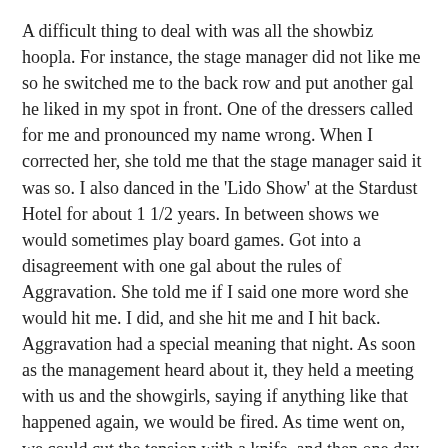A difficult thing to deal with was all the showbiz hoopla. For instance, the stage manager did not like me so he switched me to the back row and put another gal he liked in my spot in front. One of the dressers called for me and pronounced my name wrong. When I corrected her, she told me that the stage manager said it was so. I also danced in the 'Lido Show' at the Stardust Hotel for about 1 1/2 years. In between shows we would sometimes play board games. Got into a disagreement with one gal about the rules of Aggravation. She told me if I said one more word she would hit me. I did, and she hit me and I hit back. Aggravation had a special meaning that night. As soon as the management heard about it, they held a meeting with us and the showgirls, saying if anything like that happened again, we would be fired. As time went on, we could cut the tension with a knife, and then one day she offered me some makeup for a photo shoot I was doing, and even invited me to her wedding. Wow those crazy Vegas days, glad they are behind me.
When the Lido show was closing, I auditioned for the next show. Did not get it, yet I got in a Vegas show going to Manila, Philippines. Another interesting time in a strange country with roaches 2 inches long. On the last night of the show, I sprained